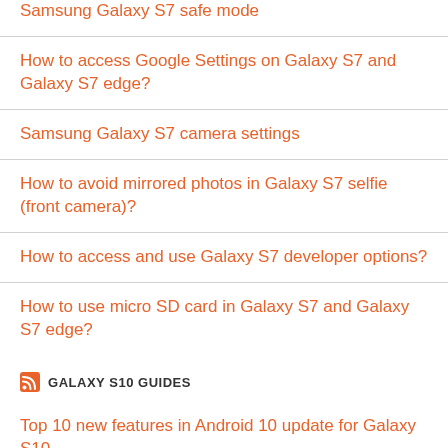Samsung Galaxy S7 safe mode
How to access Google Settings on Galaxy S7 and Galaxy S7 edge?
Samsung Galaxy S7 camera settings
How to avoid mirrored photos in Galaxy S7 selfie (front camera)?
How to access and use Galaxy S7 developer options?
How to use micro SD card in Galaxy S7 and Galaxy S7 edge?
GALAXY S10 GUIDES
Top 10 new features in Android 10 update for Galaxy S10